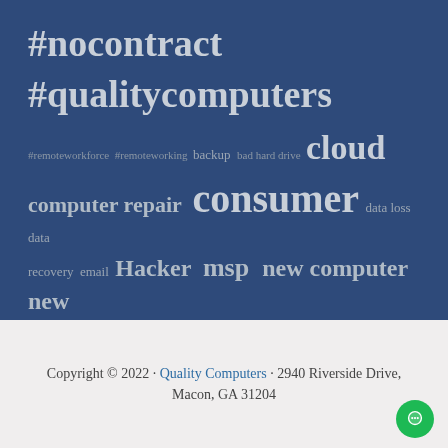[Figure (infographic): Tag cloud on dark blue background with various IT/computer service related tags in different sizes: #nocontract #qualitycomputers, #remoteworkforce #remoteworking backup bad hard drive cloud, computer repair consumer data loss data recovery email Hacker msp new computer new laptop online safety QualityCareSuite recover data remote support repair sale scam service small business Webcam]
Copyright © 2022 · Quality Computers · 2940 Riverside Drive, Macon, GA 31204